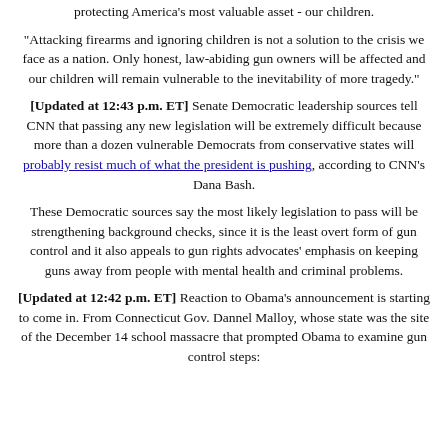protecting America's most valuable asset - our children.
"Attacking firearms and ignoring children is not a solution to the crisis we face as a nation. Only honest, law-abiding gun owners will be affected and our children will remain vulnerable to the inevitability of more tragedy."
[Updated at 12:43 p.m. ET] Senate Democratic leadership sources tell CNN that passing any new legislation will be extremely difficult because more than a dozen vulnerable Democrats from conservative states will probably resist much of what the president is pushing, according to CNN's Dana Bash.
These Democratic sources say the most likely legislation to pass will be strengthening background checks, since it is the least overt form of gun control and it also appeals to gun rights advocates' emphasis on keeping guns away from people with mental health and criminal problems.
[Updated at 12:42 p.m. ET] Reaction to Obama's announcement is starting to come in. From Connecticut Gov. Dannel Malloy, whose state was the site of the December 14 school massacre that prompted Obama to examine gun control steps: